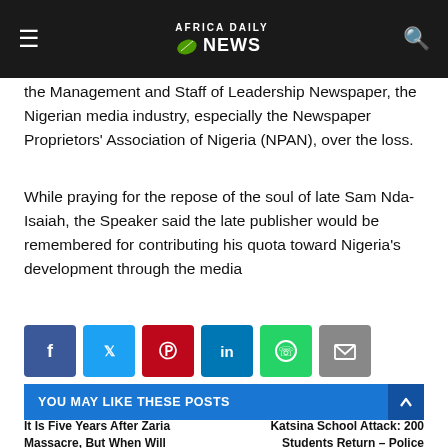Africa Daily News
the Management and Staff of Leadership Newspaper, the Nigerian media industry, especially the Newspaper Proprietors' Association of Nigeria (NPAN), over the loss.
While praying for the repose of the soul of late Sam Nda-Isaiah, the Speaker said the late publisher would be remembered for contributing his quota toward Nigeria's development through the media
[Figure (infographic): Social media share buttons: Facebook, Twitter, Pinterest, LinkedIn, WhatsApp, Email]
OLDER
It Is Five Years After Zaria Massacre, But When Will Justice Be Served?
NEWER
Katsina School Attack: 200 Students Return – Police
YOU MAY LIKE THESE POSTS